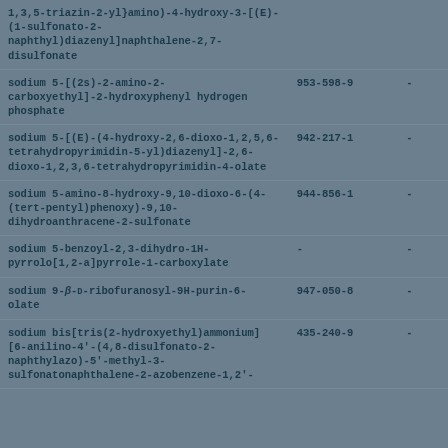| Name | EC Number |  |
| --- | --- | --- |
| 1,3,5-triazin-2-yl}amino)-4-hydroxy-3-[(E)-(1-sulfonato-2-naphthyl)diazenyl]naphthalene-2,7-disulfonate |  |  |
| sodium 5-[(2s)-2-amino-2-carboxyethyl]-2-hydroxyphenyl hydrogen phosphate | 953-598-9 | - |
| sodium 5-[(E)-(4-hydroxy-2,6-dioxo-1,2,5,6-tetrahydropyrimidin-5-yl)diazenyl]-2,6-dioxo-1,2,3,6-tetrahydropyrimidin-4-olate | 942-217-1 | - |
| sodium 5-amino-8-hydroxy-9,10-dioxo-6-(4-(tert-pentyl)phenoxy)-9,10-dihydroanthracene-2-sulfonate | 944-856-1 | - |
| sodium 5-benzoyl-2,3-dihydro-1H-pyrrolo[1,2-a]pyrrole-1-carboxylate | - | - |
| sodium 9-β-D-ribofuranosyl-9H-purin-6-olate | 947-050-8 | - |
| sodium bis[tris(2-hydroxyethyl)ammonium] [6-anilino-4'-(4,8-disulfonato-2-naphthylazo)-5'-methyl-3-sulfonatonaphthalene-2-azobenzene-1,2'- | 435-240-9 | - |